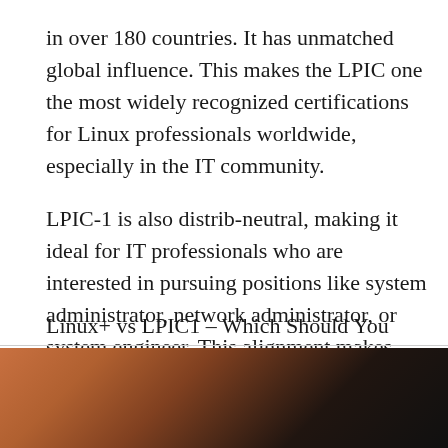in over 180 countries. It has unmatched global influence. This makes the LPIC one the most widely recognized certifications for Linux professionals worldwide, especially in the IT community. LPIC-1 is also distrib-neutral, making it ideal for IT professionals who are interested in pursuing positions like system administrator, network administrator, or system engineer. This alignment makes LPIC-1 certification even more appealing because it embodies open-source software’s community-driven nature.
Linux+ vs LPIC1 – Which Should You Earn?
First, we recommend the LPIC-1 in a vacuum. LPI’s position is a glo
[Figure (photo): Partial image visible at bottom of page, appears to be a photo with dark and warm tones]